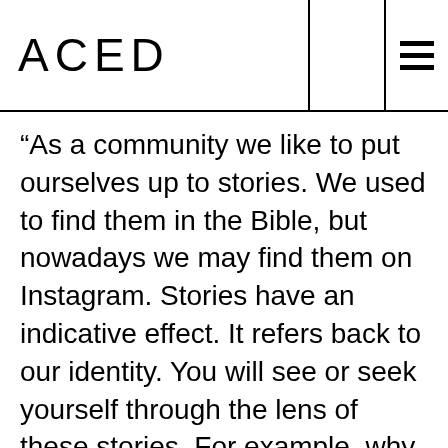ACED
“As a community we like to put ourselves up to stories. We used to find them in the Bible, but nowadays we may find them on Instagram. Stories have an indicative effect. It refers back to our identity. You will see or seek yourself through the lens of these stories. For example, why do young girls like to wear princess dresses,” questions Saskia. “Another question that is not often asked: how does our material surrounding inform our identity? Where do we feel at home?” This and more is